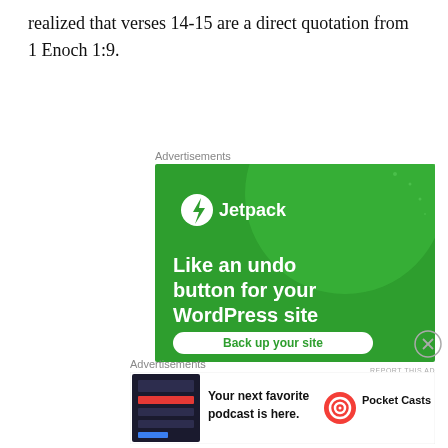realized that verses 14-15 are a direct quotation from 1 Enoch 1:9.
[Figure (illustration): Jetpack advertisement banner: green background with large circle shape, Jetpack logo (lightning bolt in circle) and text 'Like an undo button for your WordPress site' with 'Back up your site' button]
[Figure (illustration): Pocket Casts advertisement banner: white background with app screenshot, text 'Your next favorite podcast is here.' and Pocket Casts logo]